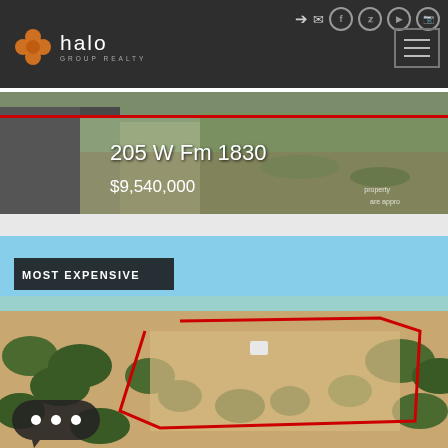[Figure (logo): Halo Group Realty logo with orange flower icon and white text on dark background header]
[Figure (photo): Aerial view of property at 205 W Fm 1830, showing road and fields with red boundary line, listed at $9,540,000]
205 W Fm 1830
$9,540,000
[Figure (photo): Aerial drone photo of large rural land parcel showing fields, trees, and structures outlined with red boundary polygon, labeled MOST EXPENSIVE]
MOST EXPENSIVE